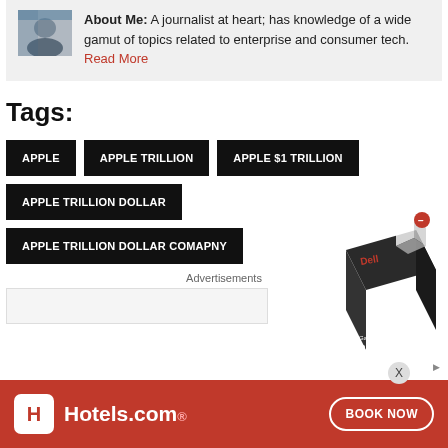[Figure (photo): Small author profile photo thumbnail]
About Me: A journalist at heart; has knowledge of a wide gamut of topics related to enterprise and consumer tech. Read More
Tags:
APPLE
APPLE TRILLION
APPLE $1 TRILLION
APPLE TRILLION DOLLAR
APPLE TRILLION DOLLAR COMAPNY
Advertisements
[Figure (photo): Dell G15 Gaming Laptop advertisement box product image]
[Figure (photo): Hotels.com banner advertisement with BOOK NOW button]